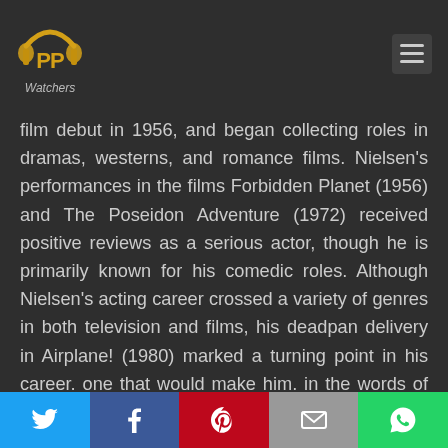[Figure (logo): PP Watchers logo — two golden/orange headphones PP symbol with 'Watchers' text below in gray italic, on dark background]
film debut in 1956, and began collecting roles in dramas, westerns, and romance films. Nielsen's performances in the films Forbidden Planet (1956) and The Poseidon Adventure (1972) received positive reviews as a serious actor, though he is primarily known for his comedic roles. Although Nielsen's acting career crossed a variety of genres in both television and films, his deadpan delivery in Airplane! (1980) marked a turning point in his career, one that would make him, in the words of film critic Roger Ebert, "the Olivier of spoofs." Nielsen enjoyed further success with The Naked Gun film series (1988 – 1994), based on a short-lived television series Police Squad! which he had...
[Figure (other): Social sharing bar with Twitter (blue), Facebook (dark blue), Pinterest (red), Email (gray), WhatsApp (green) buttons]